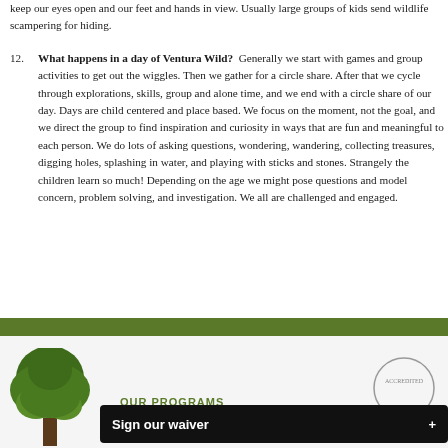keep our eyes open and our feet and hands in view. Usually large groups of kids send wildlife scampering for hiding.
12. What happens in a day of Ventura Wild? Generally we start with games and group activities to get out the wiggles. Then we gather for a circle share. After that we cycle through explorations, skills, group and alone time, and we end with a circle share of our day. Days are child centered and place based. We focus on the moment, not the goal, and we direct the group to find inspiration and curiosity in ways that are fun and meaningful to each person. We do lots of asking questions, wondering, wandering, collecting treasures, digging holes, splashing in water, and playing with sticks and stones. Strangely the children learn so much! Depending on the age we might pose questions and model concern, problem solving, and investigation. We all are challenged and engaged.
OUR PROGRAMS